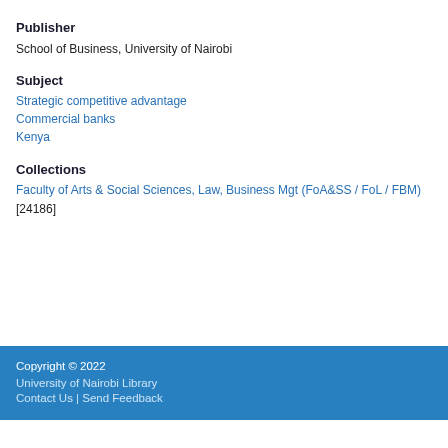Publisher
School of Business, University of Nairobi
Subject
Strategic competitive advantage
Commercial banks
Kenya
Collections
Faculty of Arts & Social Sciences, Law, Business Mgt (FoA&SS / FoL / FBM) [24186]
Copyright © 2022
University of Nairobi Library
Contact Us | Send Feedback